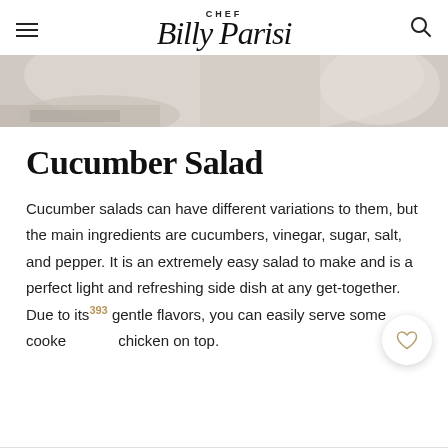CHEF Billy Parisi
[Figure (photo): Partial top view of a cucumber salad dish, light/white background]
Cucumber Salad
Cucumber salads can have different variations to them, but the main ingredients are cucumbers, vinegar, sugar, salt, and pepper. It is an extremely easy salad to make and is a perfect light and refreshing side dish at any get-together. Due to its gentle flavors, you can easily serve some cooked chicken on top.